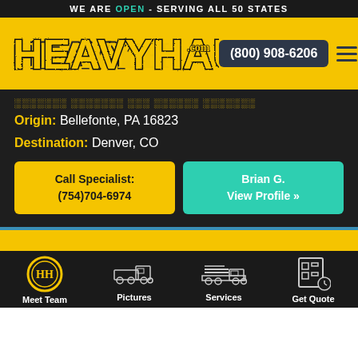WE ARE OPEN - SERVING ALL 50 STATES
[Figure (logo): HeavyHaulers.com logo in yellow grunge font on yellow background]
(800) 908-6206
Origin: Bellefonte, PA 16823
Destination: Denver, CO
Call Specialist: (754)704-6974
Brian G. View Profile »
[Figure (screenshot): Partial blue banner visible at bottom of content area]
Meet Team | Pictures | Services | Get Quote